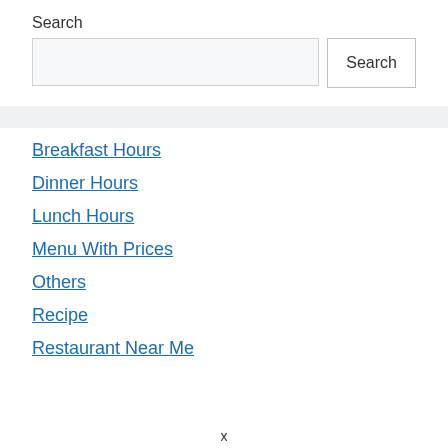Search
[Search input field] [Search button]
Breakfast Hours
Dinner Hours
Lunch Hours
Menu With Prices
Others
Recipe
Restaurant Near Me